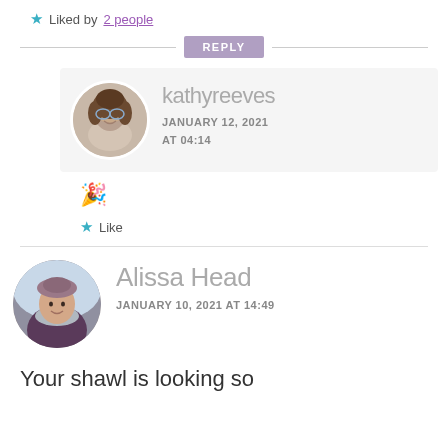★ Liked by 2 people
REPLY
kathyreeves
JANUARY 12, 2021
AT 04:14
[Figure (illustration): Colorful emoji/sticker image]
★ Like
Alissa Head
JANUARY 10, 2021 AT 14:49
Your shawl is looking so